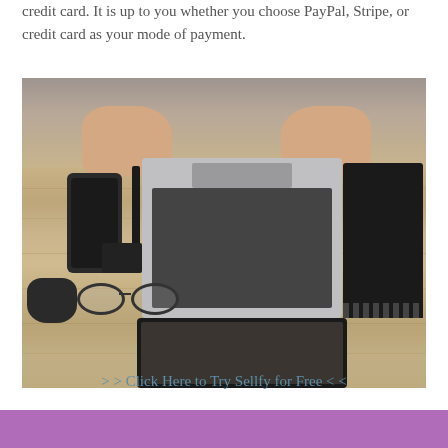credit card. It is up to you whether you choose PayPal, Stripe, or credit card as your mode of payment.
[Figure (photo): Overhead flat-lay photo of a person's hands resting on a wooden desk with a laptop, smartphone, glasses, mouse, pen, small black accessory, notebook, and tablet arranged around them.]
> > Click Here to Try Sellfy for Free < <